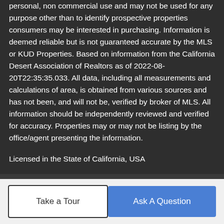personal, non commercial use and may not be used for any purpose other than to identify prospective properties consumers may be interested in purchasing. Information is deemed reliable but is not guaranteed accurate by the MLS or KUD Properties. Based on information from the California Desert Association of Realtors as of 2022-08-20T22:35:35.033. All data, including all measurements and calculations of area, is obtained from various sources and has not been, and will not be, verified by broker of MLS. All information should be independently reviewed and verified for accuracy. Properties may or may not be listing by the office/agent presenting the information.
Licensed in the State of California, USA
BoomTown! © 2022 | Terms of Use | Privacy Policy | Accessibility | DMCA | Listings Sitemap
Take a Tour
Ask A Question